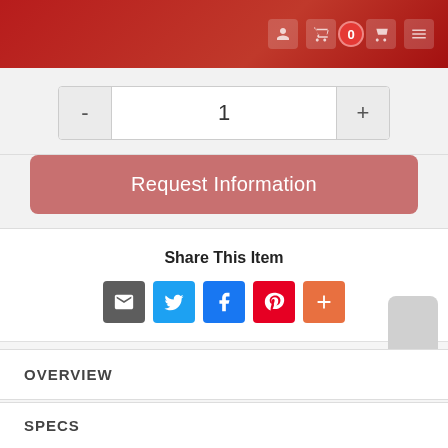[Figure (screenshot): Top navigation bar with red gradient background, showing cart icon, badge with 0, another icon, and menu icon on the right side]
[Figure (infographic): Quantity selector with minus button, value 1, and plus button]
Request Information
Share This Item
[Figure (infographic): Social share icons: email (grey), Twitter (blue), Facebook (blue), Pinterest (red), More (orange)]
OVERVIEW
SPECS